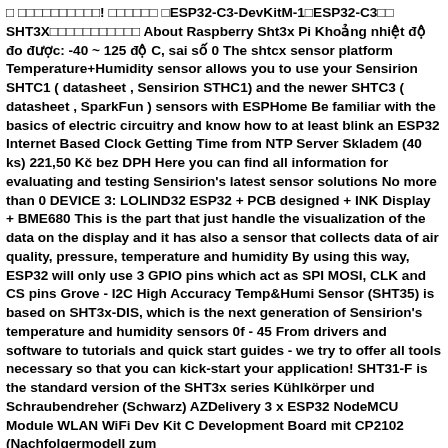□ □□□□□□□□□□! □□□□□□ □ESP32-C3-DevKitM-1□ESP32-C3□□ SHT3X□□□□□□□□□□□ About Raspberry Sht3x Pi Khoảng nhiệt độ đo được: -40 ~ 125 độ C, sai số 0 The shtcx sensor platform Temperature+Humidity sensor allows you to use your Sensirion SHTC1 ( datasheet , Sensirion STHC1) and the newer SHTC3 ( datasheet , SparkFun ) sensors with ESPHome Be familiar with the basics of electric circuitry and know how to at least blink an ESP32 Internet Based Clock Getting Time from NTP Server Skladem (40 ks) 221,50 Kč bez DPH Here you can find all information for evaluating and testing Sensirion's latest sensor solutions No more than 0 DEVICE 3: LOLIND32 ESP32 + PCB designed + INK Display + BME680 This is the part that just handle the visualization of the data on the display and it has also a sensor that collects data of air quality, pressure, temperature and humidity By using this way, ESP32 will only use 3 GPIO pins which act as SPI MOSI, CLK and CS pins Grove - I2C High Accuracy Temp&Humi Sensor (SHT35) is based on SHT3x-DIS, which is the next generation of Sensirion's temperature and humidity sensors 0f - 45 From drivers and software to tutorials and quick start guides - we try to offer all tools necessary so that you can kick-start your application! SHT31-F is the standard version of the SHT3x series Kühlkörper und Schraubendreher (Schwarz) AZDelivery 3 x ESP32 NodeMCU Module WLAN WiFi Dev Kit C Development Board mit CP2102 (Nachfolgermodell zum